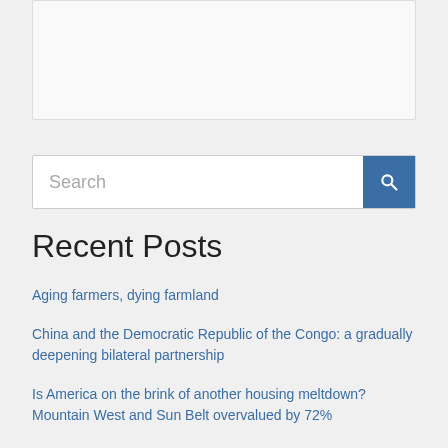[Figure (screenshot): Top white/light grey box area placeholder]
[Figure (screenshot): Search bar with text input and blue search button]
Recent Posts
Aging farmers, dying farmland
China and the Democratic Republic of the Congo: a gradually deepening bilateral partnership
Is America on the brink of another housing meltdown? Mountain West and Sun Belt overvalued by 72%
Laredo Oil Inc. (LRDC) Advances Drilling as 2023 Oil Demand Expected to Rise
Abaca and Pacific Valley Bank Partner to Expand Cannabis Banking Options in California